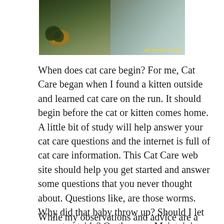[Figure (photo): A photograph of a potted plant in a basket on a wooden surface near a window, with a timestamp overlay reading 06/18/2017 10:39 in yellow/gold text.]
When does cat care begin? For me, Cat Care began when I found a kitten outside and learned cat care on the run. It should begin before the cat or kitten comes home. A little bit of study will help answer your cat care questions and the internet is full of cat care information. This Cat Care web site should help you get started and answer some questions that you never thought about. Questions like, are those worms. Why did that baby throw up? Should I let my cat outside? On the page Maintaining Your Cat, we will look at many items that need consideration. If you have questions e-mail me at catintheradles@gmail.com
While my observations and advice are a good place